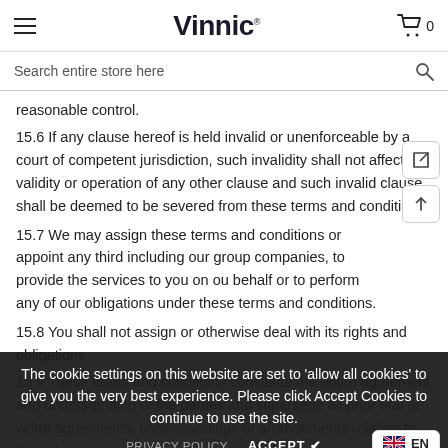Vinnic — Store header with hamburger menu, logo, and cart (0 items)
Search entire store here
reasonable control.
15.6 If any clause hereof is held invalid or unenforceable by a court of competent jurisdiction, such invalidity shall not affect the validity or operation of any other clause and such invalid clause shall be deemed to be severed from these terms and conditions.
15.7 We may assign these terms and conditions or appoint any third including our group companies, to provide the services to you on our behalf or to perform any of our obligations under these terms and conditions.
15.8 You shall not assign or otherwise deal with its rights and obligations
15.9 These terms and conditions constitute the entire agreement and understanding of the parties and supersede all prior oral or written agreements, understandings of arrangements relating to the subject
The cookie settings on this website are set to 'allow all cookies' to give you the very best experience. Please click Accept Cookies to continue to use the site.
PRIVACY POLICY   ACCEPT ✔
🏴 EN